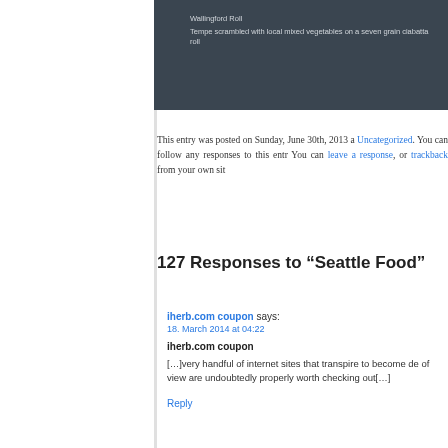[Figure (photo): Dark chalkboard-style image with white text reading 'Wallingford Roll' and 'Tempe scrambled with local mixed vegetables on a seven grain ciabatta roll']
This entry was posted on Sunday, June 30th, 2013 a... Uncategorized. You can follow any responses to this entr... You can leave a response, or trackback from your own sit...
127 Responses to “Seattle Food”
iherb.com coupon says:
18. March 2014 at 04:22

iherb.com coupon

[...]very handful of internet sites that transpire to become de... of view are undoubtedly properly worth checking out[...]

Reply